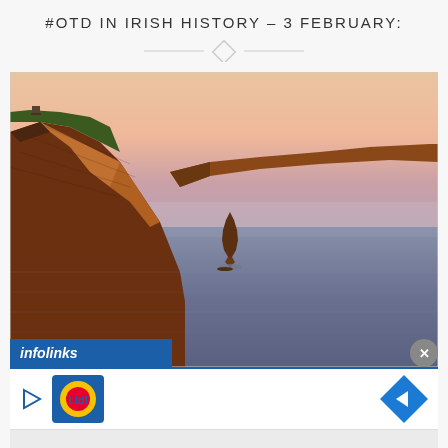#OTD IN IRISH HISTORY – 3 FEBRUARY:
[Figure (photo): Scenic photograph of the Cliffs of Moher, Ireland at sunset/dusk. Tall reddish-brown cliffs run along the left side and extend into the distance along the right. A sea stack rises from calm, still water in the center-foreground. The sky has a warm pink-peach gradient.]
[Figure (screenshot): Infolinks advertisement bar at bottom of the photo, showing Lidl logo and a blue diamond navigation arrow on the right.]